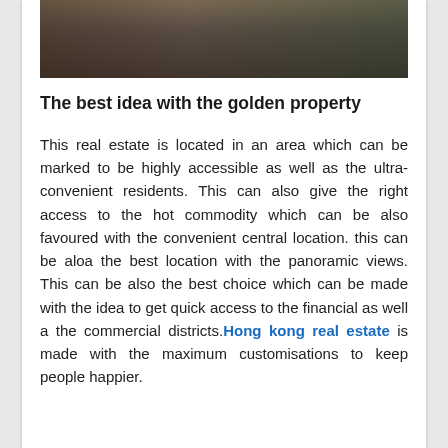[Figure (photo): Photograph of an outdoor property area, dark tones showing wooden deck or garden area with plants]
The best idea with the golden property
This real estate is located in an area which can be marked to be highly accessible as well as the ultra-convenient residents. This can also give the right access to the hot commodity which can be also favoured with the convenient central location. this can be aloa the best location with the panoramic views. This can be also the best choice which can be made with the idea to get quick access to the financial as well a the commercial districts.Hong kong real estate is made with the maximum customisations to keep people happier.